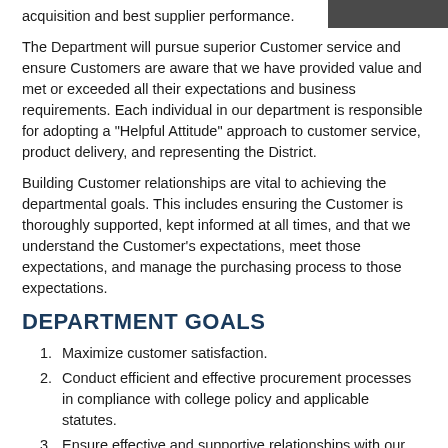[Figure (photo): Dark partial image visible in top right corner]
acquisition and best supplier performance.
The Department will pursue superior Customer service and ensure Customers are aware that we have provided value and met or exceeded all their expectations and business requirements. Each individual in our department is responsible for adopting a "Helpful Attitude" approach to customer service, product delivery, and representing the District.
Building Customer relationships are vital to achieving the departmental goals. This includes ensuring the Customer is thoroughly supported, kept informed at all times, and that we understand the Customer's expectations, meet those expectations, and manage the purchasing process to those expectations.
DEPARTMENT GOALS
Maximize customer satisfaction.
Conduct efficient and effective procurement processes in compliance with college policy and applicable statutes.
Ensure effective and supportive relationships with our customers.